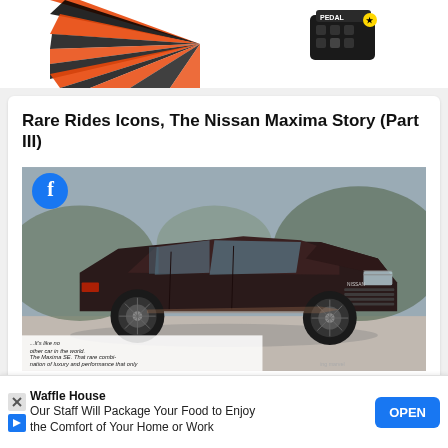[Figure (illustration): Top advertisement banner with orange and black speed lines graphic and a small electronic device (PEDAL Commander or similar)]
Rare Rides Icons, The Nissan Maxima Story (Part III)
[Figure (photo): Vintage Nissan Maxima SE promotional/advertisement photo showing a dark bronze/brown 1980s Maxima on a road with text overlay reading 'it's like no other car in the world. The Maxima SE. That rare combination of luxury and performance that only comes from precise execution of every last...' and photo credit 'ing marvel']
After its first few years as an 810, 910, Datsun by Nissan, Maxi... Maxi...
[Figure (other): Bottom overlay advertisement for Waffle House: 'Our Staff Will Package Your Food to Enjoy the Comfort of Your Home or Work' with OPEN button]